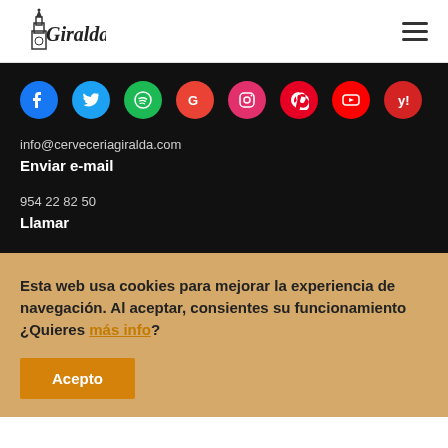Giralda
[Figure (logo): Giralda restaurant logo with tower icon and italic 'Giralda' text]
info@cerveceriagiralda.com
Enviar e-mail
954 22 82 50
Llamar
Esta web usa cookies para mejorar la experiencia de navegación. Al aceptar, consientes su funcionamiento ¿Quieres más info?